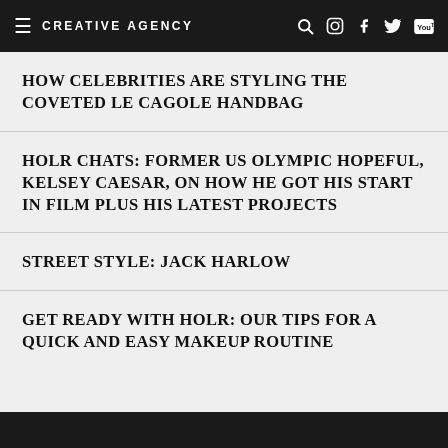CREATIVE AGENCY
HOW CELEBRITIES ARE STYLING THE COVETED LE CAGOLE HANDBAG
HOLR CHATS: FORMER US OLYMPIC HOPEFUL, KELSEY CAESAR, ON HOW HE GOT HIS START IN FILM PLUS HIS LATEST PROJECTS
STREET STYLE: JACK HARLOW
GET READY WITH HOLR: OUR TIPS FOR A QUICK AND EASY MAKEUP ROUTINE